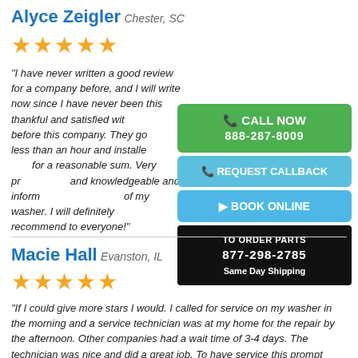Alyce Zeigler Chester, SC
★★★★★
"I have never written a good review for a company before, and I will write now since I have never been this thankful and satisfied with a company before this company. They got here in less than an hour and installed a new part for a reasonable sum. Very professional and knowledgeable and informed me of the care of my washer. I will definitely call and recommend to everyone!"
CALL NOW 888-287-8009
REQUEST CALLBACK
BOOK ONLINE
TO ORDER PARTS 877-298-2785 Same Day Shipping
Macie Hall Evanston, IL
★★★★★
"If I could give more stars I would. I called for service on my washer in the morning and a service technician was at my home for the repair by the afternoon. Other companies had a wait time of 3-4 days. The technician was nice and did a great job. To have service this prompt was worth paying a